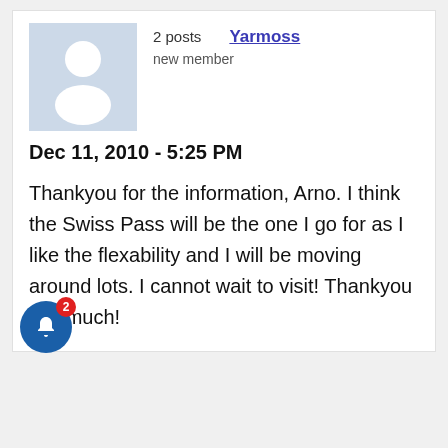[Figure (illustration): Default user avatar placeholder image — light blue square with a white silhouette of a person (head and shoulders)]
2 posts
Yarmoss
new member
Dec 11, 2010 - 5:25 PM
Thankyou for the information, Arno. I think the Swiss Pass will be the one I go for as I like the flexability and I will be moving around lots. I cannot wait to visit! Thankyou vey much!